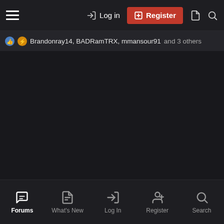Log in | Register
Brandonray14, BADRamTRX, mmansour91 and 3 others
Forums | What's New | Log In | Register | Search